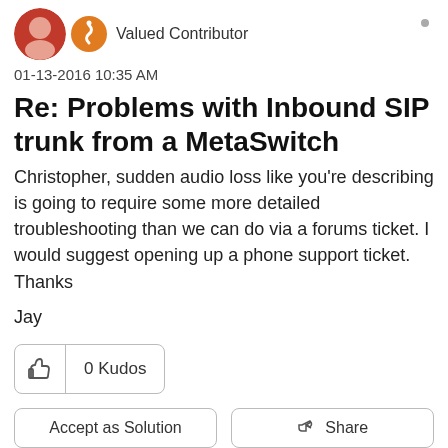[Figure (photo): User avatar (person in red) and orange badge icon, with 'Valued Contributor' label]
01-13-2016 10:35 AM
Re: Problems with Inbound SIP trunk from a MetaSwitch
Christopher, sudden audio loss like you're describing is going to require some more detailed troubleshooting than we can do via a forums ticket. I would suggest opening up a phone support ticket. Thanks
Jay
0 Kudos
Accept as Solution
Share
Reply